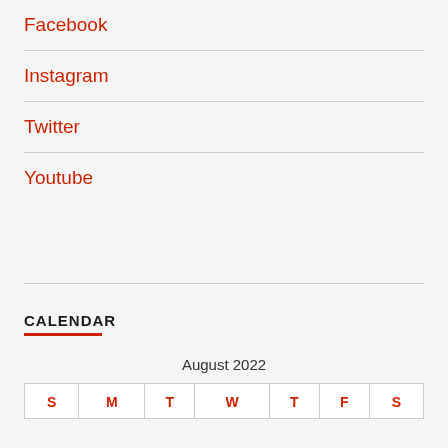Facebook
Instagram
Twitter
Youtube
CALENDAR
August 2022
| S | M | T | W | T | F | S |
| --- | --- | --- | --- | --- | --- | --- |